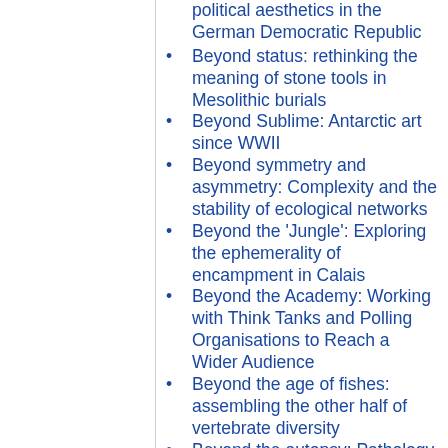political aesthetics in the German Democratic Republic
Beyond status: rethinking the meaning of stone tools in Mesolithic burials
Beyond Sublime: Antarctic art since WWII
Beyond symmetry and asymmetry: Complexity and the stability of ecological networks
Beyond the 'Jungle': Exploring the ephemerality of encampment in Calais
Beyond the Academy: Working with Think Tanks and Polling Organisations to Reach a Wider Audience
Beyond the age of fishes: assembling the other half of vertebrate diversity
Beyond the autopsy: Pathology saving lives in bowel cancer
Beyond the “empathy machine”: rethinking the role of digital realities in creating